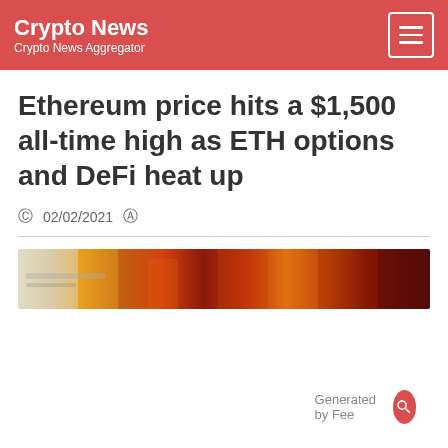Crypto News — Crypto News Aggregator
Ethereum price hits a $1,500 all-time high as ETH options and DeFi heat up
02/02/2021
[Figure (photo): A narrow horizontal banner image showing flames and fire imagery with warm orange, red, and dark tones, partially blurred.]
Generated by Feed